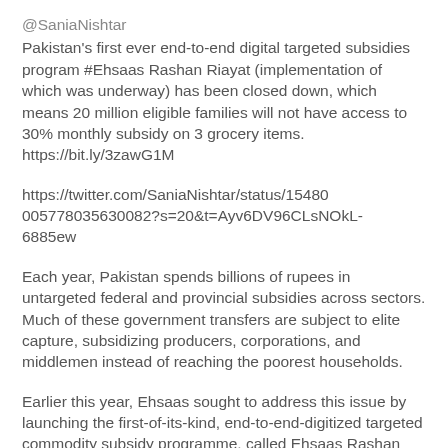@SaniaNishtar
Pakistan's first ever end-to-end digital targeted subsidies program #Ehsaas Rashan Riayat (implementation of which was underway) has been closed down, which means 20 million eligible families will not have access to 30% monthly subsidy on 3 grocery items. https://bit.ly/3zawG1M
https://twitter.com/SaniaNishtar/status/15480005778035630082?s=20&t=Ayv6DV96CLsNOkL-6885ew
Each year, Pakistan spends billions of rupees in untargeted federal and provincial subsidies across sectors. Much of these government transfers are subject to elite capture, subsidizing producers, corporations, and middlemen instead of reaching the poorest households.
Earlier this year, Ehsaas sought to address this issue by launching the first-of-its-kind, end-to-end-digitized targeted commodity subsidy programme, called Ehsaas Rashan Riayat. The